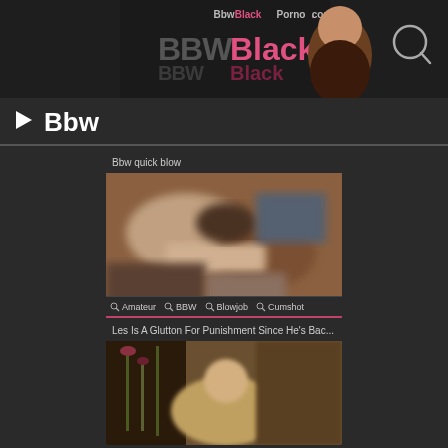[Figure (screenshot): Website header with logo 'BbwBlackPorno.com' and search icon]
▶ Bbw
[Figure (screenshot): Video thumbnail for 'Bbw quick blow', blurry adult content, 8 years ago, duration 00:28]
🔗 Amateur  🔗 BBW  🔗 Blowjob  🔗 Cumshot
[Figure (screenshot): Video thumbnail for 'Les Is A Glutton For Punishment Since He's Bac...']